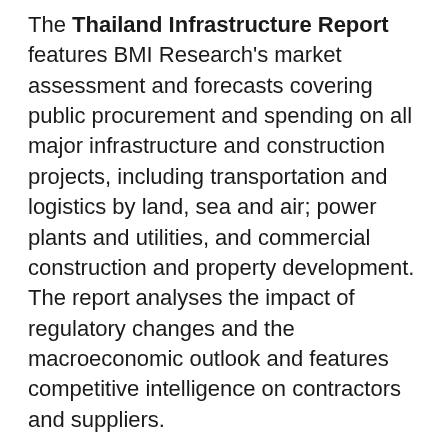The Thailand Infrastructure Report features BMI Research's market assessment and forecasts covering public procurement and spending on all major infrastructure and construction projects, including transportation and logistics by land, sea and air; power plants and utilities, and commercial construction and property development. The report analyses the impact of regulatory changes and the macroeconomic outlook and features competitive intelligence on contractors and suppliers.
BMI's Thailand Infrastructure Report provides industry professionals and strategists, sector analysts, investors, trade associations and regulatory bodies with independent forecasts and competitive intelligence on the Thai infrastructure